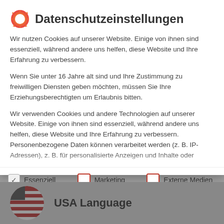Datenschutzeinstellungen
Wir nutzen Cookies auf unserer Website. Einige von ihnen sind essenziell, während andere uns helfen, diese Website und Ihre Erfahrung zu verbessern.
Wenn Sie unter 16 Jahre alt sind und Ihre Zustimmung zu freiwilligen Diensten geben möchten, müssen Sie Ihre Erziehungsberechtigten um Erlaubnis bitten.
Wir verwenden Cookies und andere Technologien auf unserer Website. Einige von ihnen sind essenziell, während andere uns helfen, diese Website und Ihre Erfahrung zu verbessern. Personenbezogene Daten können verarbeitet werden (z. B. IP-Adressen), z. B. für personalisierte Anzeigen und Inhalte oder
Essenziell
Marketing
Externe Medien
USA Language